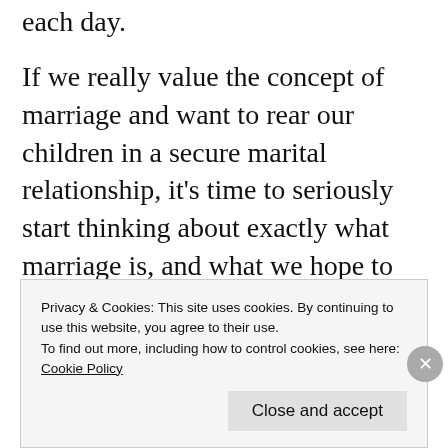each day.
If we really value the concept of marriage and want to rear our children in a secure marital relationship, it's time to seriously start thinking about exactly what marriage is, and what we hope to gain from, and bring to it.
Sponsored Content
[Figure (photo): Partial view of a person, blurred, used as sponsored content image strip]
Privacy & Cookies: This site uses cookies. By continuing to use this website, you agree to their use.
To find out more, including how to control cookies, see here: Cookie Policy
Close and accept